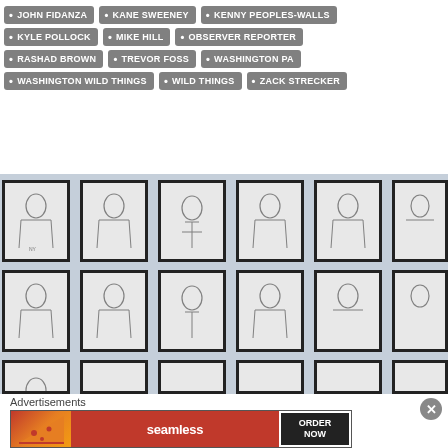JOHN FIDANZA
KANE SWEENEY
KENNY PEOPLES-WALLS
KYLE POLLOCK
MIKE HILL
OBSERVER REPORTER
RASHAD BROWN
TREVOR FOSS
WASHINGTON PA
WASHINGTON WILD THINGS
WILD THINGS
ZACK STRECKER
[Figure (photo): Wall display of framed pencil-sketch baseball player portraits arranged in three rows]
Advertisements
[Figure (infographic): Seamless food delivery advertisement banner with pizza image, seamless logo in red, and ORDER NOW button]